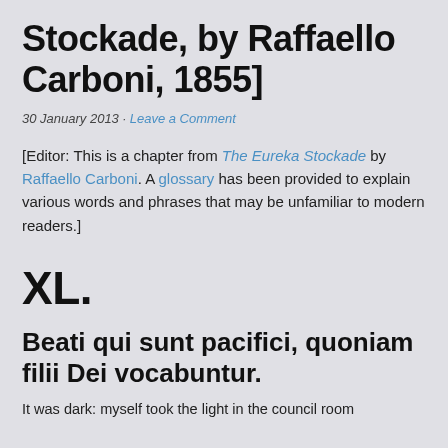Stockade, by Raffaello Carboni, 1855]
30 January 2013 · Leave a Comment
[Editor: This is a chapter from The Eureka Stockade by Raffaello Carboni. A glossary has been provided to explain various words and phrases that may be unfamiliar to modern readers.]
XL.
Beati qui sunt pacifici, quoniam filii Dei vocabuntur.
It was dark: myself took the light in the council room